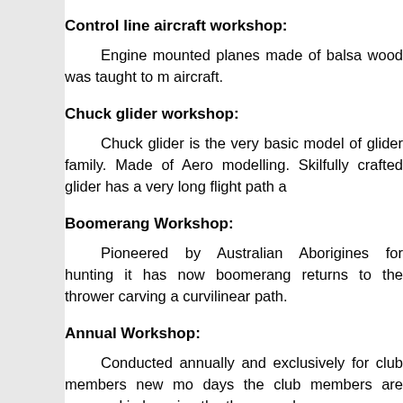Control line aircraft workshop:
Engine mounted planes made of balsa wood was taught to m aircraft.
Chuck glider workshop:
Chuck glider is the very basic model of glider family. Made of Aero modelling. Skilfully crafted glider has a very long flight path a
Boomerang Workshop:
Pioneered by Australian Aborigines for hunting it has now boomerang returns to the thrower carving a curvilinear path.
Annual Workshop:
Conducted annually and exclusively for club members new mo days the club members are engaged in knowing the theory and a
Flying Workshops:
The members are taught to fly the aircraft made during the a pilots of the flying procedures and conditions before they are ta modelling the conditions flying workshops is an important training